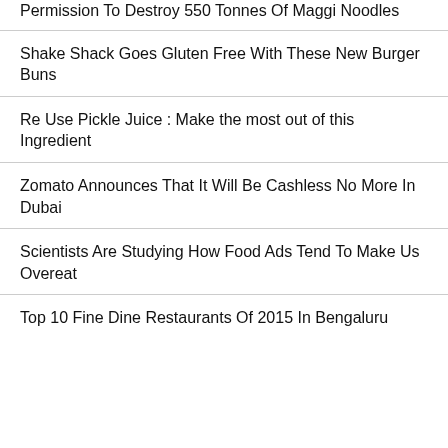Permission To Destroy 550 Tonnes Of Maggi Noodles
Shake Shack Goes Gluten Free With These New Burger Buns
Re Use Pickle Juice : Make the most out of this Ingredient
Zomato Announces That It Will Be Cashless No More In Dubai
Scientists Are Studying How Food Ads Tend To Make Us Overeat
Top 10 Fine Dine Restaurants Of 2015 In Bengaluru